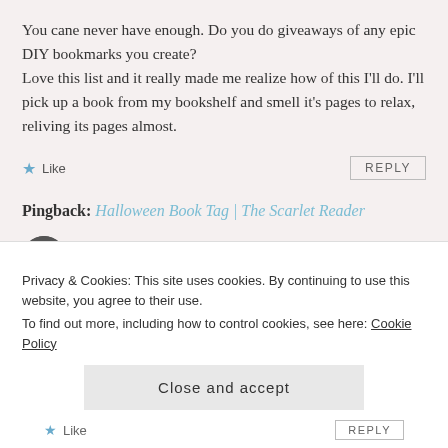You cane never have enough. Do you do giveaways of any epic DIY bookmarks you create? Love this list and it really made me realize how of this I'll do. I'll pick up a book from my bookshelf and smell it's pages to relax, reliving its pages almost.
★ Like    REPLY
Pingback: Halloween Book Tag | The Scarlet Reader
boshishhusse
Privacy & Cookies: This site uses cookies. By continuing to use this website, you agree to their use.
To find out more, including how to control cookies, see here: Cookie Policy
Close and accept
★ Like    REPLY